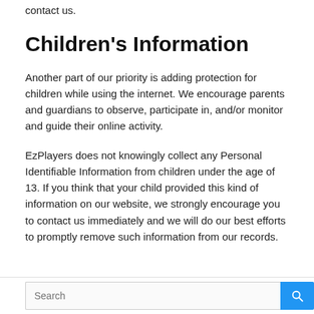contact us.
Children's Information
Another part of our priority is adding protection for children while using the internet. We encourage parents and guardians to observe, participate in, and/or monitor and guide their online activity.
EzPlayers does not knowingly collect any Personal Identifiable Information from children under the age of 13. If you think that your child provided this kind of information on our website, we strongly encourage you to contact us immediately and we will do our best efforts to promptly remove such information from our records.